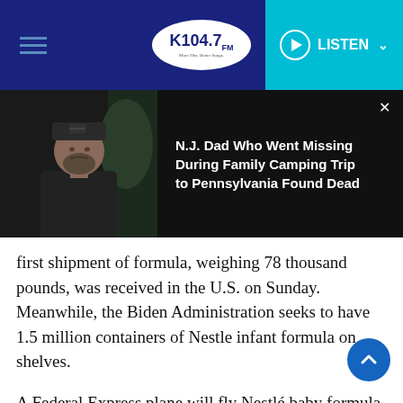K104.7 FM — LISTEN
[Figure (screenshot): Promotional banner showing a man wearing a dark cap and black shirt on the left, with text on the right reading 'N.J. Dad Who Went Missing During Family Camping Trip to Pennsylvania Found Dead']
first shipment of formula, weighing 78 thousand pounds, was received in the U.S. on Sunday. Meanwhile, the Biden Administration seeks to have 1.5 million containers of Nestle infant formula on shelves.
A Federal Express plane will fly Nestlé baby formula from Ramstein Air Base in Germany to Dulles International Airport outside of